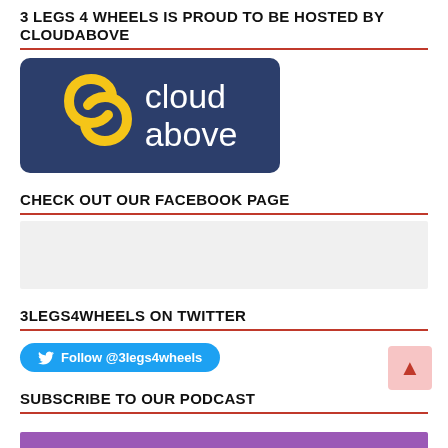3 LEGS 4 WHEELS IS PROUD TO BE HOSTED BY CLOUDABOVE
[Figure (logo): CloudAbove logo: dark navy blue rounded rectangle with a yellow stylized figure-8/infinity loop and white text reading 'cloud above']
CHECK OUT OUR FACEBOOK PAGE
[Figure (screenshot): Facebook page embed placeholder (light grey box)]
3LEGS4WHEELS ON TWITTER
[Figure (other): Twitter Follow button: blue rounded button with bird icon and text 'Follow @3legs4wheels']
SUBSCRIBE TO OUR PODCAST